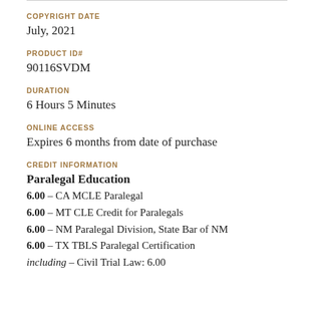COPYRIGHT DATE
July, 2021
PRODUCT ID#
90116SVDM
DURATION
6 Hours 5 Minutes
ONLINE ACCESS
Expires 6 months from date of purchase
CREDIT INFORMATION
Paralegal Education
6.00 – CA MCLE Paralegal
6.00 – MT CLE Credit for Paralegals
6.00 – NM Paralegal Division, State Bar of NM
6.00 – TX TBLS Paralegal Certification
including – Civil Trial Law: 6.00